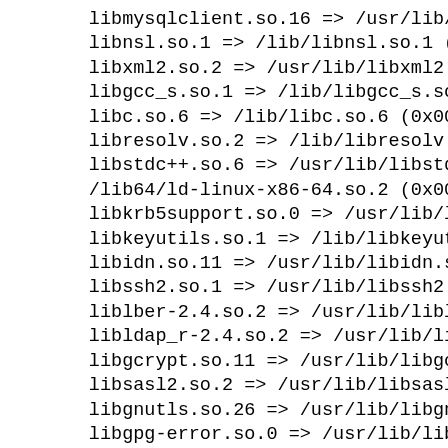libmysqlclient.so.16 => /usr/lib/li
libnsl.so.1 => /lib/libnsl.so.1 (0x
libxml2.so.2 => /usr/lib/libxml2.so
libgcc_s.so.1 => /lib/libgcc_s.so.1
libc.so.6 => /lib/libc.so.6 (0x0000
libresolv.so.2 => /lib/libresolv.so
libstdc++.so.6 => /usr/lib/libstdc+
/lib64/ld-linux-x86-64.so.2 (0x0000
libkrb5support.so.0 => /usr/lib/lib
libkeyutils.so.1 => /lib/libkeyutil
libidn.so.11 => /usr/lib/libidn.so.
libssh2.so.1 => /usr/lib/libssh2.so
liblber-2.4.so.2 => /usr/lib/liblbe
libldap_r-2.4.so.2 => /usr/lib/libl
libgcrypt.so.11 => /usr/lib/libgcry
libsasl2.so.2 => /usr/lib/libsasl2.
libgnutls.so.26 => /usr/lib/libgnut
libgpg-error.so.0 => /usr/lib/libgp
libtasn1.so.3 => /usr/lib/libtasn1